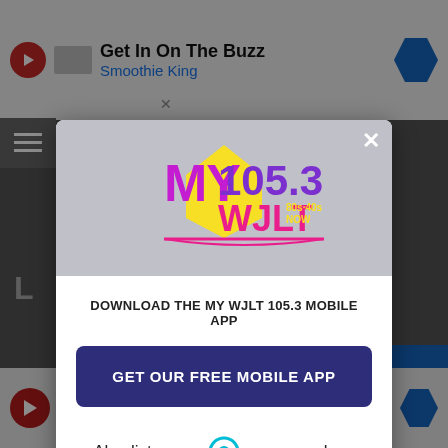[Figure (screenshot): Background webpage with advertisement bars and grayed-out content]
[Figure (screenshot): Modal popup for MY 105.3 WJLT radio station mobile app download. Contains station logo, download prompt, GET OUR FREE MOBILE APP button, and Also listen on: amazon alexa text with Alexa icon.]
DOWNLOAD THE MY WJLT 105.3 MOBILE APP
GET OUR FREE MOBILE APP
Also listen on:  amazon alexa